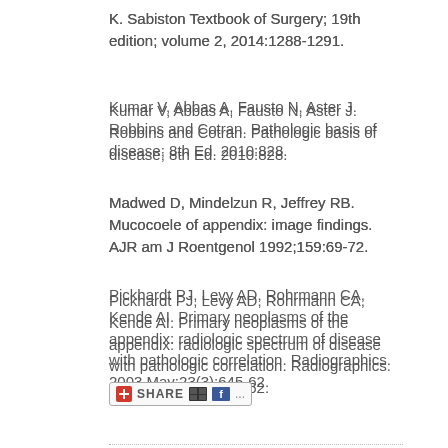K. Sabiston Textbook of Surgery; 19th edition; volume 2, 2014:1288-1291.
Kumar V, Abbas A, Fausto N, Aster J. Robbins and Cotran. Pathologic basis of disease; 8th Ed. 2010:828.
Madwed D, Mindelzun R, Jeffrey RB. Mucocoele of appendix: image findings. AJR am J Roentgenol 1992;159:69-72.
Pickhardt PJ, Levy AD, Rohrmann CA, Kende AI. Primary neoplasms of the appendix: radiologic spectrum of disease with pathologic correlation. Radiographics. 2003 May;23(3):645-62.
Yeo CJ. Shackelford's surgery of the alimentary tract; 6th Ed; volume 2. 2007:2150-2151.
[Figure (other): Share button bar with social media icons including red plus/share icon, del.icio.us icon, and Facebook icon with ellipsis]